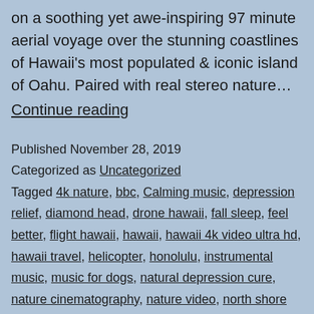on a soothing yet awe-inspiring 97 minute aerial voyage over the stunning coastlines of Hawaii's most populated & iconic island of Oahu. Paired with real stereo nature… Continue reading
Published November 28, 2019
Categorized as Uncategorized
Tagged 4k nature, bbc, Calming music, depression relief, diamond head, drone hawaii, fall sleep, feel better, flight hawaii, hawaii, hawaii 4k video ultra hd, hawaii travel, helicopter, honolulu, instrumental music, music for dogs, natural depression cure, nature cinematography, nature video, north shore 4k, north shore drone, oahu 4k, oahu drone, planet earth, relaxation channel, self help, stress…